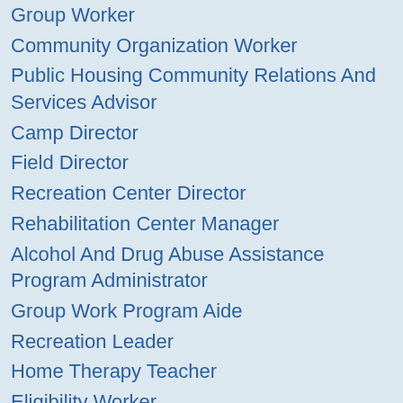Group Worker
Community Organization Worker
Public Housing Community Relations And Services Advisor
Camp Director
Field Director
Recreation Center Director
Rehabilitation Center Manager
Alcohol And Drug Abuse Assistance Program Administrator
Group Work Program Aide
Recreation Leader
Home Therapy Teacher
Eligibility Worker
Patient Resources And Reimbursement Agent
Child Support Officer
Case Aide